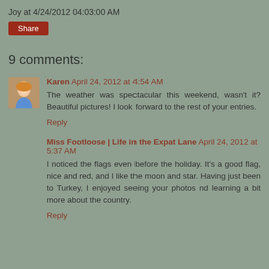Joy at 4/24/2012 04:03:00 AM
Share
9 comments:
Karen April 24, 2012 at 4:54 AM
The weather was spectacular this weekend, wasn't it? Beautiful pictures! I look forward to the rest of your entries.
Reply
Miss Footloose | Life in the Expat Lane April 24, 2012 at 5:37 AM
I noticed the flags even before the holiday. It's a good flag, nice and red, and I like the moon and star. Having just been to Turkey, I enjoyed seeing your photos nd learning a bit more about the country.
Reply